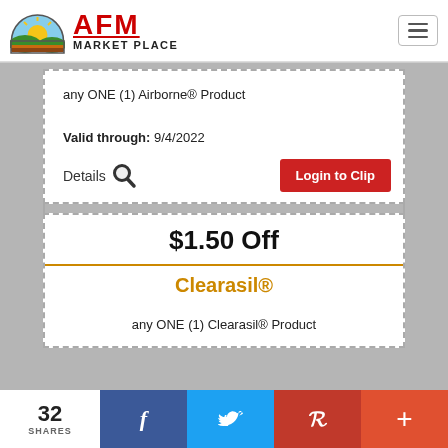[Figure (logo): AFM Market Place logo with sun/landscape graphic and red AFM text]
any ONE (1) Airborne® Product
Valid through: 9/4/2022
Details
Login to Clip
$1.50 Off
Clearasil®
any ONE (1) Clearasil® Product
32
SHARES